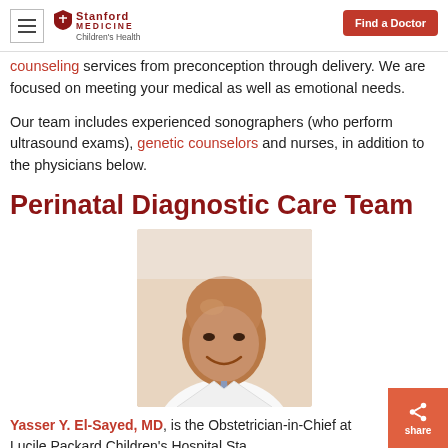Stanford Medicine Children's Health | Find a Doctor
…counseling services from preconception through delivery. We are focused on meeting your medical as well as emotional needs.
Our team includes experienced sonographers (who perform ultrasound exams), genetic counselors and nurses, in addition to the physicians below.
Perinatal Diagnostic Care Team
[Figure (photo): Professional headshot of Dr. Yasser Y. El-Sayed, MD, a bald man smiling, wearing a white lab coat and tie]
Yasser Y. El-Sayed, MD, is the Obstetrician-in-Chief at Lucile Packard Children's Hospital Stanford, a Clinical Professor…